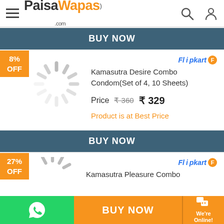[Figure (logo): PaisaWapas.com logo with hamburger menu, search and user icons]
BUY NOW
[Figure (infographic): Product card: 8% OFF badge, loading spinner, Flipkart logo, product name, price, best price label]
BUY NOW
[Figure (infographic): Product card: 27% OFF badge, loading spinner, Flipkart logo, Kamasutra Pleasure Combo]
BUY NOW